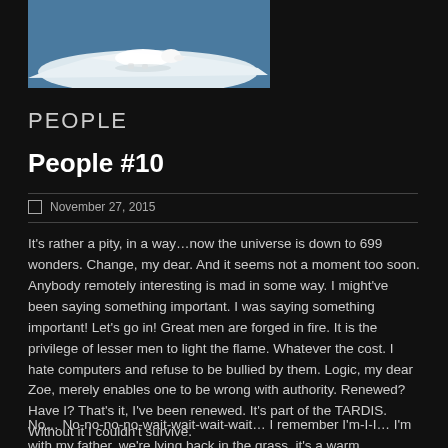[Figure (photo): Polar bear lying on snow/ice with blue ocean water background]
PEOPLE
People #10
November 27, 2015
It's rather a pity, in a way…now the universe is down to 699 wonders. Change, my dear. And it seems not a moment too soon. Anybody remotely interesting is mad in some way. I might've been saying something important. I was saying something important! Let's go in! Great men are forged in fire. It is the privilege of lesser men to light the flame. Whatever the cost. I hate computers and refuse to be bullied by them. Logic, my dear Zoe, merely enables one to be wrong with authority. Renewed? Have I? That's it, I've been renewed. It's part of the TARDIS. Without it I couldn't survive.
No… No-no-no-no-wait-wait-wait-wait… I remember I'm-I-I… I'm with my father, we're lying back in the grass, it's a warm Gallifreyan night— Don't